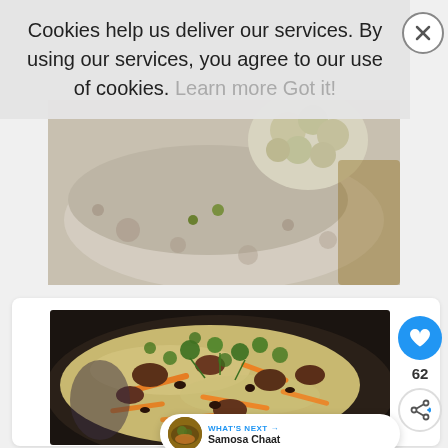[Figure (photo): Cookie consent banner overlay showing text about cookies with Learn more and Got it links, and a close button]
Cookies help us deliver our services. By using our services, you agree to our use of cookies. Learn more Got it
[Figure (photo): Partial photo of food (appears to be flatbread/naan with cauliflower) visible behind the cookie banner]
[Figure (photo): Close-up photo of a rice dish with meat (possibly pilaf/biryani) with shredded carrots, raisins, and fresh cilantro/herbs on top]
62
WHAT'S NEXT → Samosa Chaat